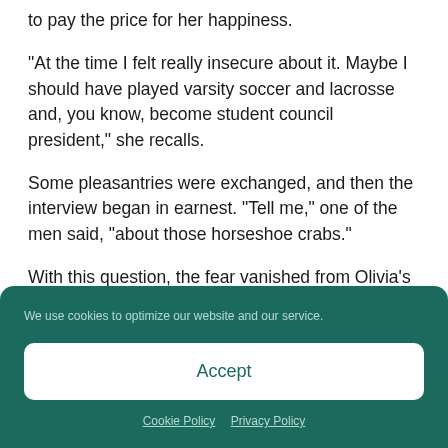to pay the price for her happiness.
“At the time I felt really insecure about it. Maybe I should have played varsity soccer and lacrosse and, you know, become student council president,” she recalls.
Some pleasantries were exchanged, and then the interview began in earnest. “Tell me,” one of the men said, “about those horseshoe crabs.”
With this question, the fear vanished from Olivia’s
We use cookies to optimize our website and our service.
Accept
Cookie Policy  Privacy Policy